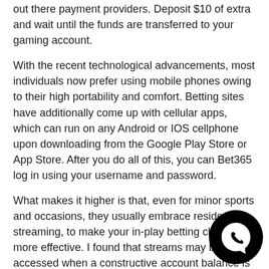out there payment providers. Deposit $10 of extra and wait until the funds are transferred to your gaming account.
With the recent technological advancements, most individuals now prefer using mobile phones owing to their high portability and comfort. Betting sites have additionally come up with cellular apps, which can run on any Android or IOS cellphone upon downloading from the Google Play Store or App Store. After you do all of this, you can Bet365 log in using your username and password.
What makes it higher is that, even for minor sports and occasions, they usually embrace reside streaming, to make your in-play betting classes far more effective. I found that streams may be accessed when a constructive account balance is on the market. At the time of penning this evaluation, I found the next bonuses and promotions available at Bet365, with all helping to both maximise winnings and minimise losses. I will now undergo all of the standout provides obtainable to Nigerian-based
[Figure (logo): WhatsApp logo icon — white phone-in-speech-bubble icon on black circular background]